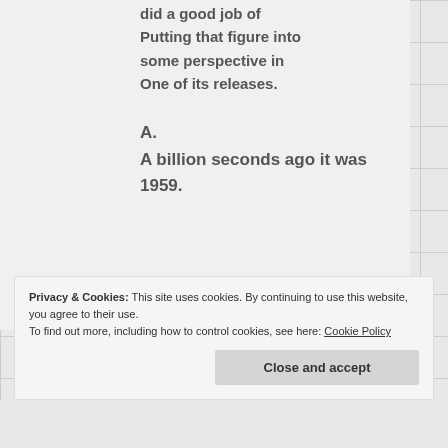did a good job of Putting that figure into some perspective in One of its releases.
A.
A billion seconds ago it was 1959.
Privacy & Cookies: This site uses cookies. By continuing to use this website, you agree to their use. To find out more, including how to control cookies, see here: Cookie Policy
Close and accept